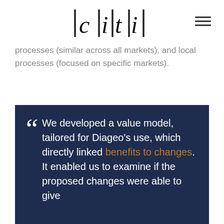|c|i|t|i|
processes (similar across all markets), and local processes (focused on specific markets).
We developed a value model, tailored for Diageo's use, which directly linked benefits to changes. It enabled us to examine if the proposed changes were able to give